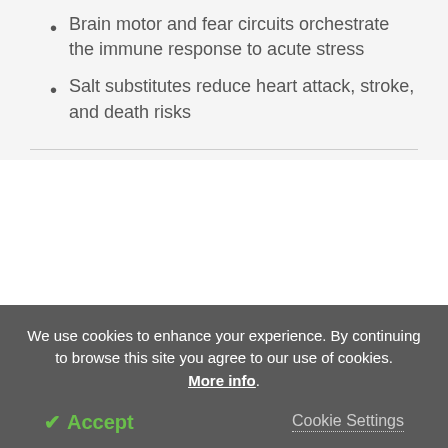Brain motor and fear circuits orchestrate the immune response to acute stress
Salt substitutes reduce heart attack, stroke, and death risks
Dr. John Quigley is the principal investigator for the inpatient trial at UIC.
"Patients who are hospitalized with COVID-19 are very vulnerable. Our job as physicians is to use emerging clinical and scientific evidence to inform...
We use cookies to enhance your experience. By continuing to browse this site you agree to our use of cookies. More info.
Accept
Cookie Settings